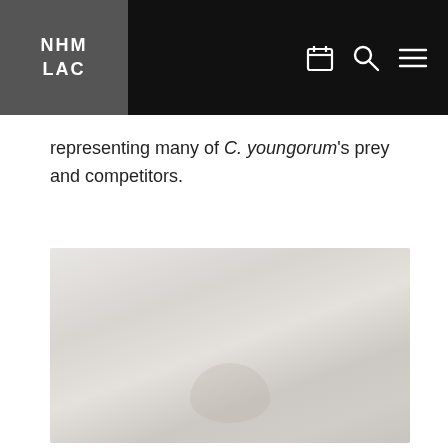NHM LAC
representing many of C. youngorum’s prey and competitors.
[Figure (photo): A faded/washed-out paleontological or natural history photograph, showing light-toned fossil or scene imagery with very low contrast against a pale background.]